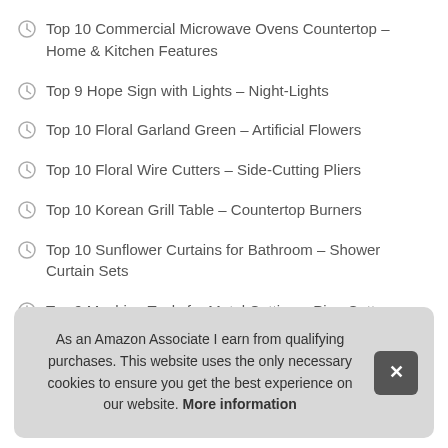Top 10 Commercial Microwave Ovens Countertop – Home & Kitchen Features
Top 9 Hope Sign with Lights – Night-Lights
Top 10 Floral Garland Green – Artificial Flowers
Top 10 Floral Wire Cutters – Side-Cutting Pliers
Top 10 Korean Grill Table – Countertop Burners
Top 10 Sunflower Curtains for Bathroom – Shower Curtain Sets
Top 9 Machine Tools for Metal Cutting – Pipe Cutters
T…
As an Amazon Associate I earn from qualifying purchases. This website uses the only necessary cookies to ensure you get the best experience on our website. More information